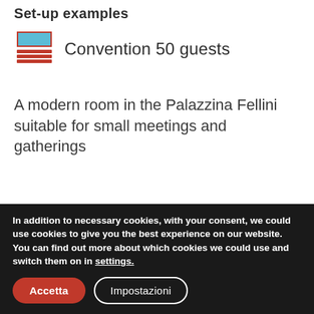Set-up examples
Convention 50 guests
A modern room in the Palazzina Fellini suitable for small meetings and gatherings
[Figure (photo): Partial view of a modern meeting room interior with beige/olive walls and dark ceiling elements]
In addition to necessary cookies, with your consent, we could use cookies to give you the best experience on our website. You can find out more about which cookies we could use and switch them on in settings.
Accetta
Impostazioni